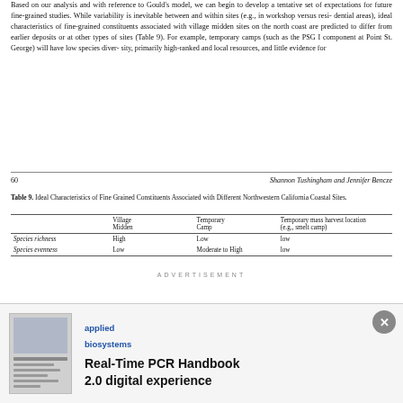Based on our analysis and with reference to Gould's model, we can begin to develop a tentative set of expectations for future fine-grained studies. While variability is inevitable between and within sites (e.g., in workshop versus residential areas), ideal characteristics of fine-grained constituents associated with village midden sites on the north coast are predicted to differ from earlier deposits or at other types of sites (Table 9). For example, temporary camps (such as the PSG I component at Point St. George) will have low species diversity, primarily high-ranked and local resources, and little evidence for
60    Shannon Tushingham and Jennifer Bencze
Table 9. Ideal Characteristics of Fine Grained Constituents Associated with Different Northwestern California Coastal Sites.
|  | Village Midden | Temporary Camp | Temporary mass harvest location (e.g., smelt camp) |
| --- | --- | --- | --- |
| Species richness | High | Low | low |
| Species evenness | Low | Moderate to High | low |
[Figure (other): Advertisement for Applied Biosystems Real-Time PCR Handbook 2.0 digital experience, showing a thumbnail image of the handbook and the Applied Biosystems logo.]